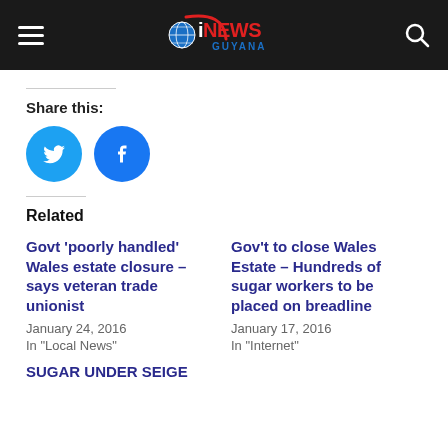iNEWS GUYANA
Share this:
[Figure (illustration): Twitter and Facebook share buttons as cyan/blue circles with white icons]
Related
Govt ‘poorly handled’ Wales estate closure – says veteran trade unionist
January 24, 2016
In "Local News"
Gov't to close Wales Estate – Hundreds of sugar workers to be placed on breadline
January 17, 2016
In "Internet"
SUGAR UNDER SEIGE